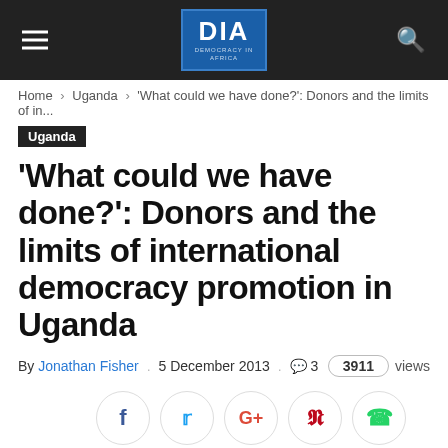DIA — Democracy in Africa
Home › Uganda › 'What could we have done?': Donors and the limits of in...
Uganda
'What could we have done?': Donors and the limits of international democracy promotion in Uganda
By Jonathan Fisher . 5 December 2013 . 💬 3   3911 views
[Figure (other): Social sharing buttons: Facebook, Twitter, Google+, Pinterest, WhatsApp]
[Figure (photo): Headshot photo of the article author Jonathan Fisher]